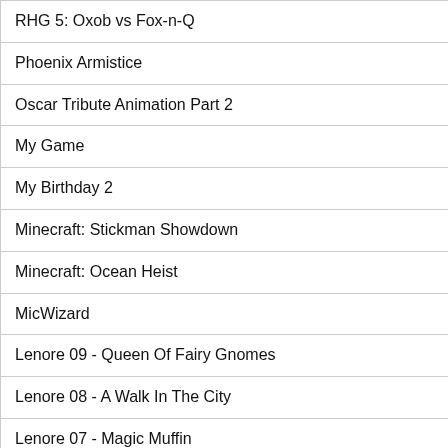| Title | Genre |
| --- | --- |
| RHG 5: Oxob vs Fox-n-Q | Action |
| Phoenix Armistice | Music Video |
| Oscar Tribute Animation Part 2 | Action |
| My Game | Other |
| My Birthday 2 | Action |
| Minecraft: Stickman Showdown | Action |
| Minecraft: Ocean Heist | Action |
| MicWizard | Action |
| Lenore 09 - Queen Of Fairy Gnomes | Comedy |
| Lenore 08 - A Walk In The City | Comedy |
| Lenore 07 - Magic Muffin | Comedy |
| Lenore 06 - The Return Of Mr. Gosh | Comedy |